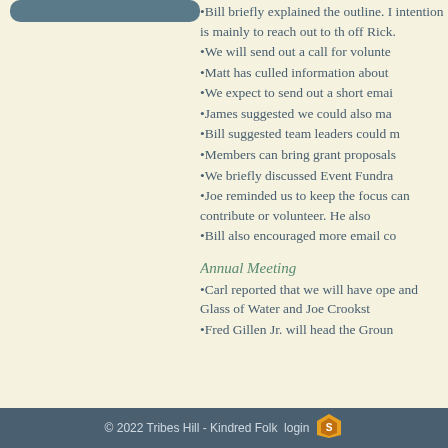•Bill briefly explained the outline. Intention is mainly to reach out to th... off Rick.
•We will send out a call for volunte...
•Matt has culled information about ...
•We expect to send out a short emai...
•James suggested we could also ma...
•Bill suggested team leaders could m...
•Members can bring grant proposals...
•We briefly discussed Event Fundra...
•Joe reminded us to keep the focus ... can contribute or volunteer. He also...
•Bill also encouraged more email co...
Annual Meeting
•Carl reported that we will have ope... and Glass of Water and Joe Crookst...
•Fred Gillen Jr. will head the Groun...
© 2022 Tribes Hill - Kindred Folk  login